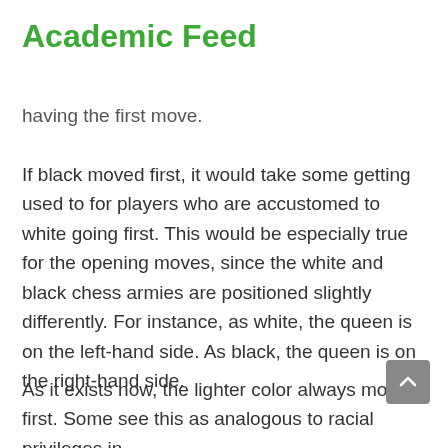Academic Feed
having the first move.
If black moved first, it would take some getting used to for players who are accustomed to white going first. This would be especially true for the opening moves, since the white and black chess armies are positioned slightly differently. For instance, as white, the queen is on the left-hand side. As black, the queen is on the right-hand side.
As it exists now, the lighter color always moves first. Some see this as analogous to racial privileges in